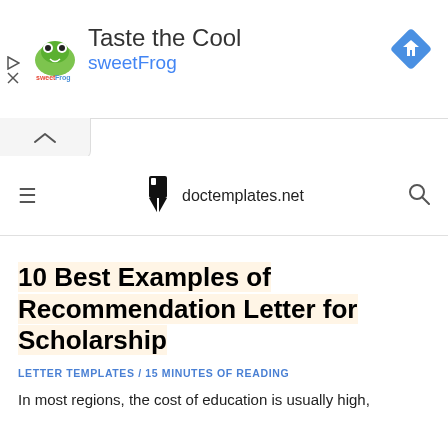[Figure (screenshot): SweetFrog advertisement banner with logo, 'Taste the Cool' title, 'sweetFrog' subtitle in blue, and a blue diamond navigation icon on the right]
[Figure (screenshot): Collapse/minimize chevron button below the ad banner]
doctemplates.net navigation bar with hamburger menu and search icon
10 Best Examples of Recommendation Letter for Scholarship
LETTER TEMPLATES / 15 MINUTES OF READING
In most regions, the cost of education is usually high,